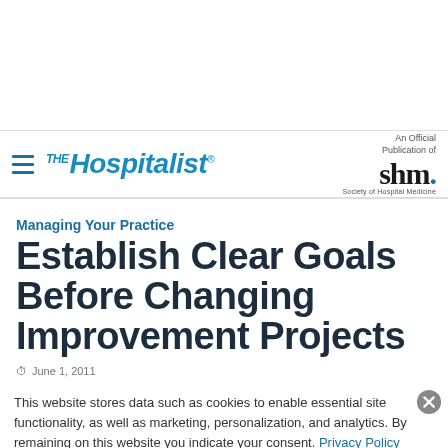THE Hospitalist — An Official Publication of SHM (Society of Hospital Medicine)
Managing Your Practice
Establish Clear Goals Before Changing Improvement Projects
June 1, 2011
This website stores data such as cookies to enable essential site functionality, as well as marketing, personalization, and analytics. By remaining on this website you indicate your consent. Privacy Policy